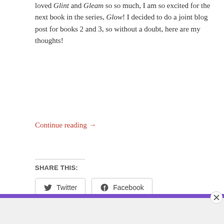loved Glint and Gleam so so much, I am so excited for the next book in the series, Glow! I decided to do a joint blog post for books 2 and 3, so without a doubt, here are my thoughts!
Continue reading →
SHARE THIS:
[Figure (screenshot): Twitter and Facebook share buttons with icons]
Loading...
[Figure (screenshot): Purple decorative bar at bottom]
Advertisements
[Figure (screenshot): Dark advertisement box: Launch your online course with WordPress — Learn More]